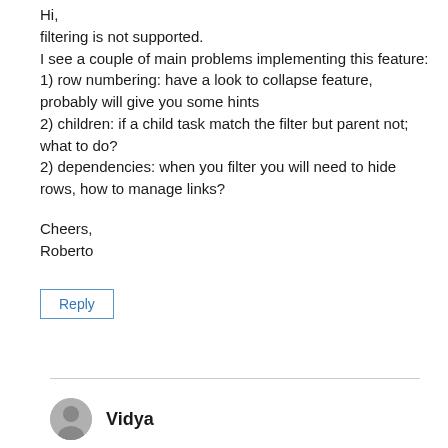Hi,
filtering is not supported.
I see a couple of main problems implementing this feature:
1) row numbering: have a look to collapse feature, probably will give you some hints
2) children: if a child task match the filter but parent not; what to do?
2) dependencies: when you filter you will need to hide rows, how to manage links?

Cheers,
Roberto
Reply
Vidya